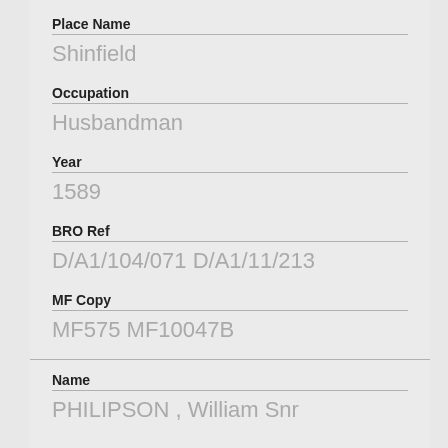Place Name
Shinfield
Occupation
Husbandman
Year
1589
BRO Ref
D/A1/104/071 D/A1/11/213
MF Copy
MF575 MF10047B
Name
PHILIPSON , William Snr